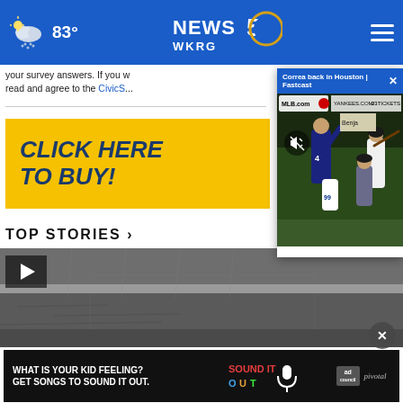NEWS 5 WKRG | 83°
your survey answers. If you want to read and agree to the CivicS...
[Figure (screenshot): Yellow advertisement button reading CLICK HERE TO BUY!]
[Figure (screenshot): Fastcast overlay popup showing 'Correa back in Houston | Fastcast' with MLB baseball video thumbnail showing players on field]
TOP STORIES ›
[Figure (screenshot): Video thumbnail with play button showing grayscale weather/storm footage]
[Figure (screenshot): Ad banner: WHAT IS YOUR KID FEELING? GET SONGS TO SOUND IT OUT. with Sound It Out and ad council/pivotal logos]